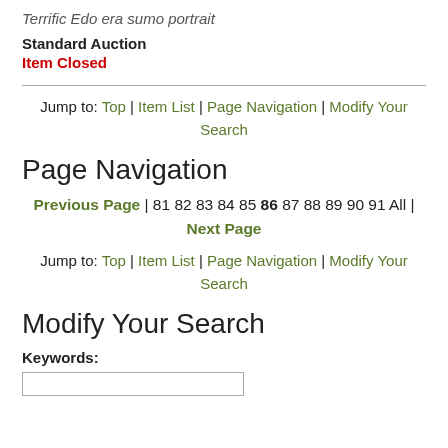Terrific Edo era sumo portrait
Standard Auction
Item Closed
Jump to: Top | Item List | Page Navigation | Modify Your Search
Page Navigation
Previous Page | 81 82 83 84 85 86 87 88 89 90 91 All | Next Page
Jump to: Top | Item List | Page Navigation | Modify Your Search
Modify Your Search
Keywords: